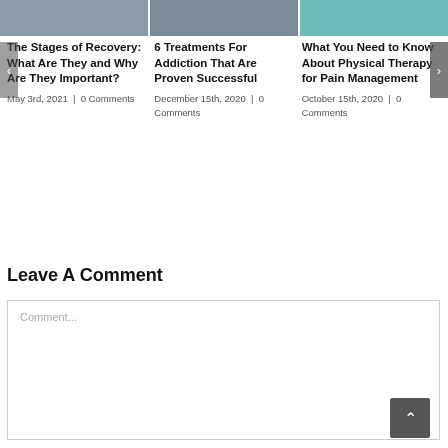[Figure (photo): Three blog post thumbnail images in a horizontal strip at the top]
The Stages of Recovery: What Are They and Why Are They Important?
May 3rd, 2021  |  0 Comments
6 Treatments For Addiction That Are Proven Successful
December 15th, 2020  |  0 Comments
What You Need to Know About Physical Therapy for Pain Management
October 15th, 2020  |  0 Comments
Leave A Comment
Comment...